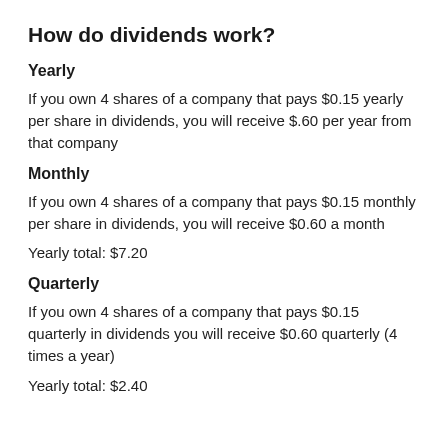How do dividends work?
Yearly
If you own 4 shares of a company that pays $0.15 yearly per share in dividends, you will receive $.60 per year from that company
Monthly
If you own 4 shares of a company that pays $0.15 monthly per share in dividends, you will receive $0.60 a month
Yearly total: $7.20
Quarterly
If you own 4 shares of a company that pays $0.15 quarterly in dividends you will receive $0.60 quarterly (4 times a year)
Yearly total: $2.40